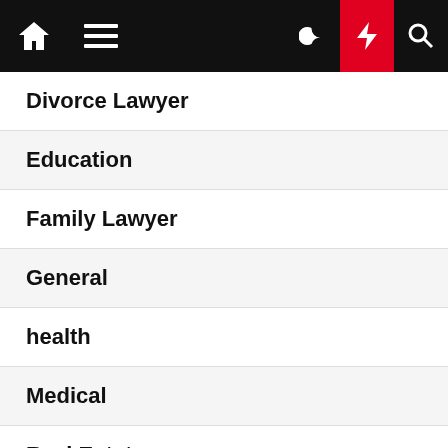Navigation bar with home, hamburger menu, moon, lightning, and search icons
Divorce Lawyer
Education
Family Lawyer
General
health
Medical
Real Estate
Society
Sports & Game
Web Design